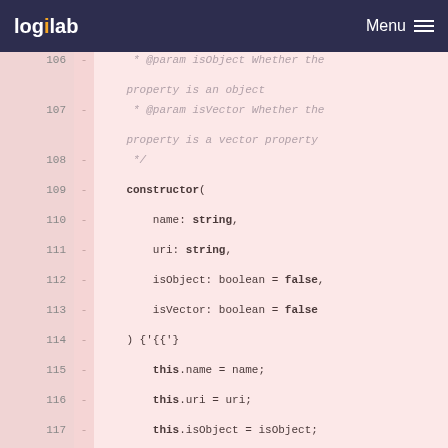logilab  Menu
[Figure (screenshot): Code diff view showing TypeScript class constructor definition, lines 106-123, with deleted lines marked with '-' on pink background. Lines show JSDoc comments and constructor body with name, uri, isObject, isVector parameters.]